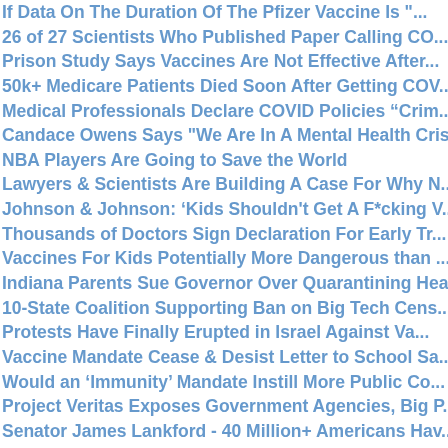If Data On The Duration Of The Pfizer Vaccine Is "...
26 of 27 Scientists Who Published Paper Calling CO...
Prison Study Says Vaccines Are Not Effective After...
50k+ Medicare Patients Died Soon After Getting COV...
Medical Professionals Declare COVID Policies “Crim...
Candace Owens Says "We Are In A Mental Health Crisis"
NBA Players Are Going to Save the World
Lawyers & Scientists Are Building A Case For Why N...
Johnson & Johnson: 'Kids Shouldn't Get A F*cking V...
Thousands of Doctors Sign Declaration For Early Tr...
Vaccines For Kids Potentially More Dangerous than ...
Indiana Parents Sue Governor Over Quarantining Hea...
10-State Coalition Supporting Ban on Big Tech Cens...
Protests Have Finally Erupted in Israel Against Va...
Vaccine Mandate Cease & Desist Letter to School Sa...
Would an 'Immunity' Mandate Instill More Public Co...
Project Veritas Exposes Government Agencies, Big P...
Senator James Lankford - 40 Million+ Americans Hav...